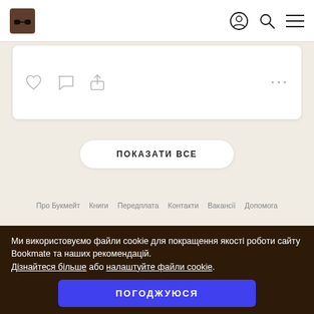Bookmate logo, user icon, search icon, menu icon
[Figure (screenshot): Social action icons: heart (like), comment bubble, share button, and three dots menu on a white card]
ПОКАЗАТИ ВСЕ
Про Букмейт  Книги  Передплата  Контакти  Вакансії  Допомога
Ми використовуємо файли cookie для покращення якості роботи сайту Bookmate та наших рекомендацій. Дізнайтеся більше або налаштуйте файли cookie.
ПОГОДЖУЮСЯ